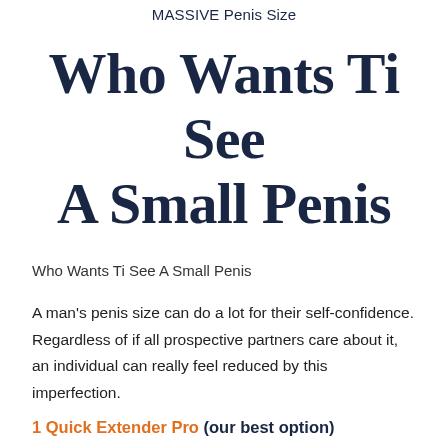MASSIVE Penis Size
Who Wants Ti See A Small Penis
Who Wants Ti See A Small Penis
A man's penis size can do a lot for their self-confidence. Regardless of if all prospective partners care about it, an individual can really feel reduced by this imperfection.
1 Quick Extender Pro (our best option)